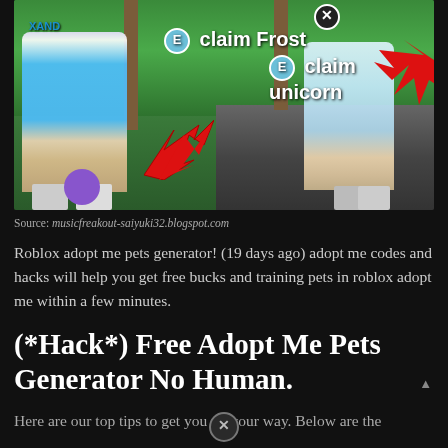[Figure (screenshot): Roblox Adopt Me game screenshot showing two characters with 'claim Frost' and 'claim unicorn' prompts, red arrows pointing to claim spots, E interaction badges, and a close (X) button overlay.]
Source: musicfreakout-saiyuki32.blogspot.com
Roblox adopt me pets generator! (19 days ago) adopt me codes and hacks will help you get free bucks and training pets in roblox adopt me within a few minutes.
(*Hack*) Free Adopt Me Pets Generator No Human.
Here are our top tips to get you on your way. Below are the